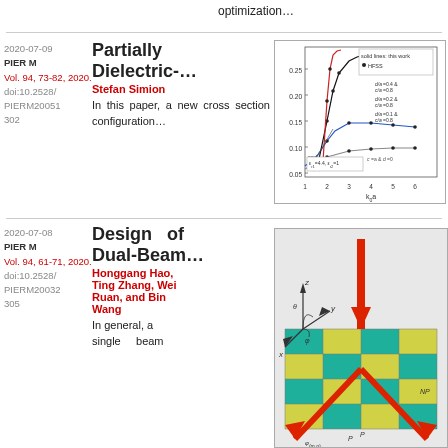optimization…
2020-07-09
PIER M
Vol. 94, 73-82, 2020.
doi:10.2528/PIERM20051302
Partially Dielectric-…
Stefan Simion
In this paper, a new cross section configuration…
[Figure (continuous-plot): Graph of conductor attenuation (αc in Np/m) vs k0a for partially dielectric-filled waveguide, showing multiple curves for different d/a and c/a values, comparing solid lines (this work) vs HFSS dots. Parameters: εr1=4.4, εr2=1.]
2020-07-08
PIER M
Vol. 94, 61-71, 2020.
doi:10.2528/PIERM20032305
Design of Dual-Beam…
Honggang Hao, Ting Zhang, Wei Ruan, and Bin Wang
In general, a single beam…
[Figure (engineering-diagram): 3D schematic of a dual-beam antenna array showing a grid structure with alternating cyan and yellow tiles, red arrows indicating beam directions, coordinate axes (x, y, z), and labels for P, NP, φ(m,n).]